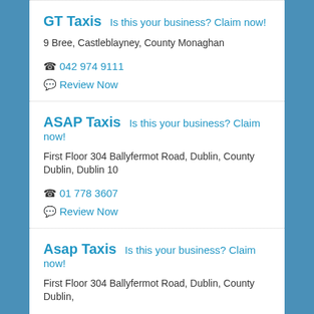GT Taxis  Is this your business? Claim now!
9 Bree, Castleblayney, County Monaghan
042 974 9111
Review Now
ASAP Taxis  Is this your business? Claim now!
First Floor 304 Ballyfermot Road, Dublin, County Dublin, Dublin 10
01 778 3607
Review Now
Asap Taxis  Is this your business? Claim now!
First Floor 304 Ballyfermot Road, Dublin, County Dublin,